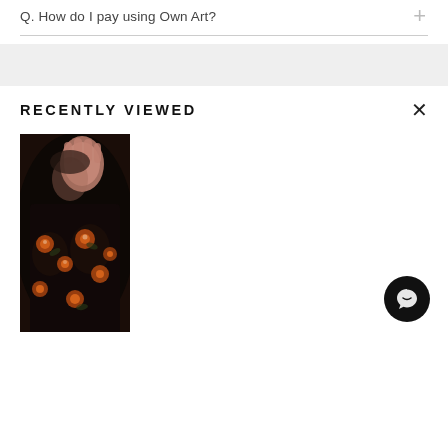Q. How do I pay using Own Art?
RECENTLY VIEWED
[Figure (photo): A dark painting of a figure wearing a black floral dress with orange roses, with a hand raised near the face. Dark moody background.]